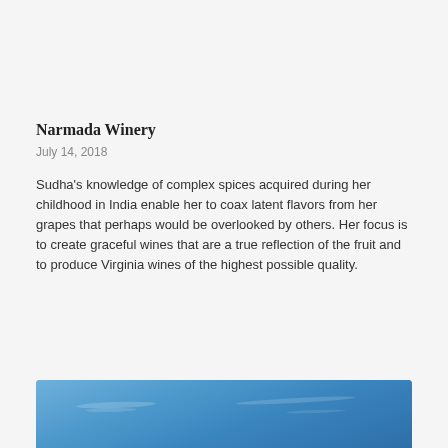Narmada Winery
July 14, 2018
Sudha’s knowledge of complex spices acquired during her childhood in India enable her to coax latent flavors from her grapes that perhaps would be overlooked by others. Her focus is to create graceful wines that are a true reflection of the fruit and to produce Virginia wines of the highest possible quality.
[Figure (photo): Blue sky with thin cloud streaks, partial view at bottom of page]